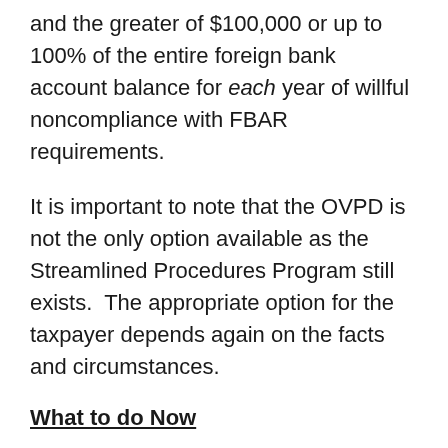and the greater of $100,000 or up to 100% of the entire foreign bank account balance for each year of willful noncompliance with FBAR requirements.
It is important to note that the OVPD is not the only option available as the Streamlined Procedures Program still exists.  The appropriate option for the taxpayer depends again on the facts and circumstances.
What to do Now
As noted above, the IRS fully intends to continue increasing the number of criminal prosecutions of taxpayers involved in failing...